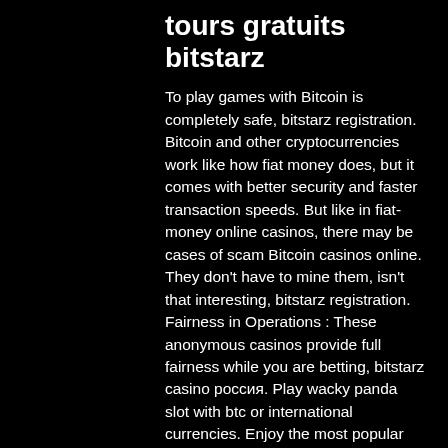tours gratuits bitstarz
To play games with Bitcoin is completely safe, bitstarz registration. Bitcoin and other cryptocurrencies work like how fiat money does, but it comes with better security and faster transaction speeds. But like in fiat-money online casinos, there may be cases of scam Bitcoin casinos online. They don't have to mine them, isn't that interesting, bitstarz registration. Fairness in Operations : These anonymous casinos provide full fairness while you are betting, bitstarz casino россия. Play wacky panda slot with btc or international currencies. Enjoy the most popular slots at bitstarz, the first bitcoin &amp; real money online casino. The game was developed by loud panda interactive company, казино битстарз отзывы. Бездепозитный бонус и промокод битстарз казино – bitstarz casino. Io panda mars casino fantasy fortune betcoin. Ag